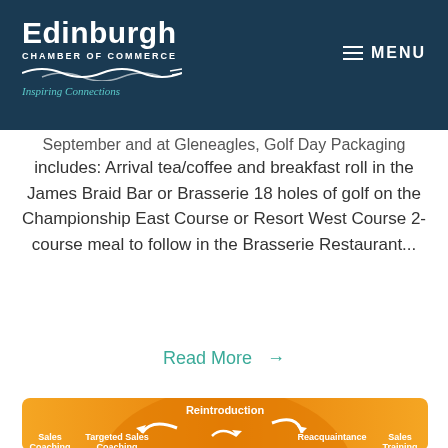Edinburgh Chamber of Commerce — Inspiring Connections | MENU
September and at Gleneagles, Golf Day Packaging includes: Arrival tea/coffee and breakfast roll in the James Braid Bar or Brasserie 18 holes of golf on the Championship East Course or Resort West Course 2-course meal to follow in the Brasserie Restaurant...
Read More →
[Figure (infographic): Circular sales cycle diagram on an orange/yellow background showing interconnected stages: Reintroduction (top center), Reacquaintance (right), Sales Training (far right), Targeted Sales Coaching (center-left), Sales Coaching (far left), with white arrows forming a cycle between the stages.]